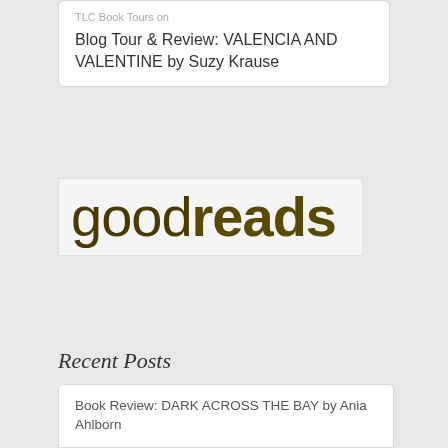TLC Book Tours on
Blog Tour & Review: VALENCIA AND VALENTINE by Suzy Krause
[Figure (logo): Goodreads logo in large sans-serif text with thin 'good' and bold 'reads']
Recent Posts
Book Review: DARK ACROSS THE BAY by Ania Ahlborn
Cover Reveal: ALMOST RUTH by Tyler Jones
Review: THE BRIGHT LANDS by John Fram
Review: THE GOLDEN CAGE by Camilla Läckberg